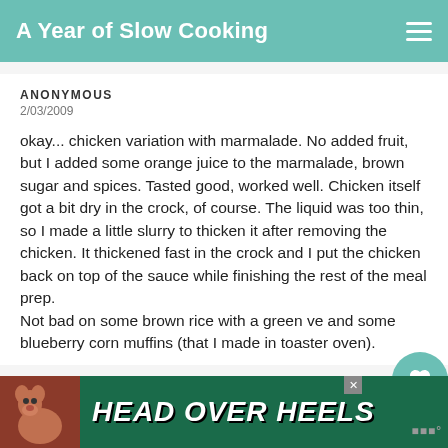A Year of Slow Cooking
ANONYMOUS
2/03/2009
okay... chicken variation with marmalade. No added fruit, but I added some orange juice to the marmalade, brown sugar and spices. Tasted good, worked well. Chicken itself got a bit dry in the crock, of course. The liquid was too thin, so I made a little slurry to thicken it after removing the chicken. It thickened fast in the crock and I put the chicken back on top of the sauce while finishing the rest of the meal prep.
Not bad on some brown rice with a green ve and some blueberry corn muffins (that I made in toaster oven).
WHAT'S NEXT → Honey Garlic Chicken Slo...
[Figure (screenshot): HEAD OVER HEELS advertisement banner with dog image]